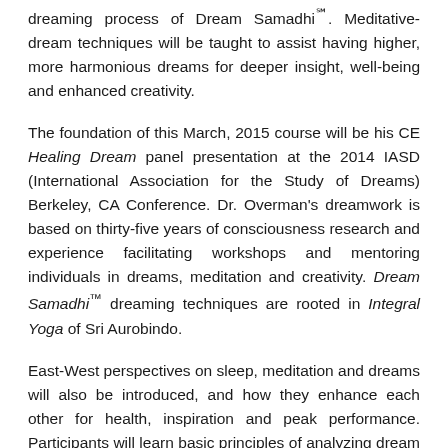dreaming process of Dream Samadhi℠. Meditative-dream techniques will be taught to assist having higher, more harmonious dreams for deeper insight, well-being and enhanced creativity.
The foundation of this March, 2015 course will be his CE Healing Dream panel presentation at the 2014 IASD (International Association for the Study of Dreams) Berkeley, CA Conference. Dr. Overman's dreamwork is based on thirty-five years of consciousness research and experience facilitating workshops and mentoring individuals in dreams, meditation and creativity. Dream Samadhi™ dreaming techniques are rooted in Integral Yoga of Sri Aurobindo.
East-West perspectives on sleep, meditation and dreams will also be introduced, and how they enhance each other for health, inspiration and peak performance. Participants will learn basic principles of analyzing dream types and basic principles of personal dream interpretation, for greater self-knowledge and inner-direction.
Each Saturday morning seminar is a combination of: teaching